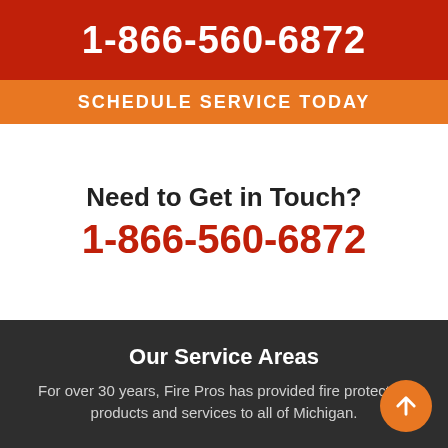1-866-560-6872
SCHEDULE SERVICE TODAY
Need to Get in Touch?
1-866-560-6872
Our Service Areas
For over 30 years, Fire Pros has provided fire protection products and services to all of Michigan.